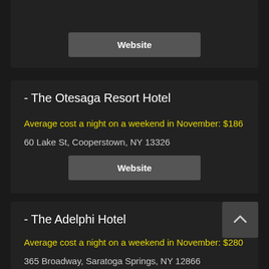Website
- The Otesaga Resort Hotel
Average cost a night on a weekend in November: $186
60 Lake St, Cooperstown, NY 13326
Website
- The Adelphi Hotel
Average cost a night on a weekend in November: $280
365 Broadway, Saratoga Springs, NY 12866